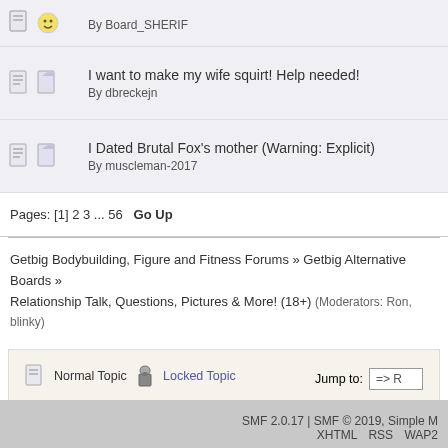By Board_SHERIF
I want to make my wife squirt! Help needed!
By dbreckejn
I Dated Brutal Fox's mother (Warning: Explicit)
By muscleman-2017
Pages: [1] 2 3 ... 56   Go Up
Getbig Bodybuilding, Figure and Fitness Forums » Getbig Alternative Boards » Relationship Talk, Questions, Pictures & More! (18+) (Moderators: Ron, blinky)
Normal Topic | Locked Topic | Hot Topic (More than 25 replies) | Sticky Topic | Very Hot Topic (More than 50 replies) | Poll | Jump to: => R
SMF 2.0.17 | SMF © 2019, Simple M   XHTML   RSS   WAP2